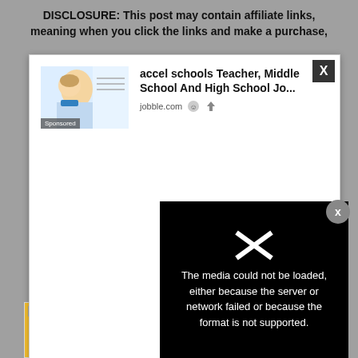DISCLOSURE: This post may contain affiliate links, meaning when you click the links and make a purchase,
[Figure (screenshot): Advertisement popup showing a job listing for 'accel schools Teacher, Middle School And High School Jo...' from jobble.com with a photo of a female teacher at a whiteboard, and an X close button in the top right corner]
[Figure (screenshot): Media error overlay on black background reading: 'The media could not be loaded, either because the server or network failed or because the format is not supported.' with a large X symbol]
[Figure (screenshot): Bottom advertisement bar for 'Cat Game' mobile app with cartoon cat characters, Ad badge, and 'Play Now' button in blue]
15 Be...